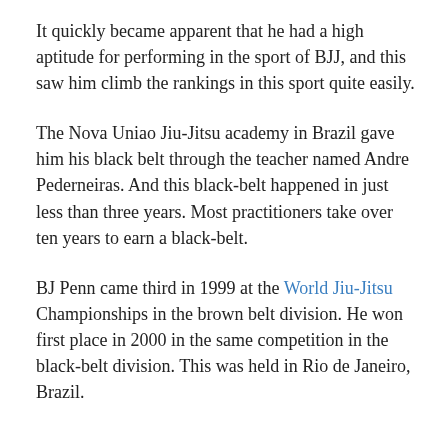It quickly became apparent that he had a high aptitude for performing in the sport of BJJ, and this saw him climb the rankings in this sport quite easily.
The Nova Uniao Jiu-Jitsu academy in Brazil gave him his black belt through the teacher named Andre Pederneiras. And this black-belt happened in just less than three years. Most practitioners take over ten years to earn a black-belt.
BJ Penn came third in 1999 at the World Jiu-Jitsu Championships in the brown belt division. He won first place in 2000 in the same competition in the black-belt division. This was held in Rio de Janeiro, Brazil.